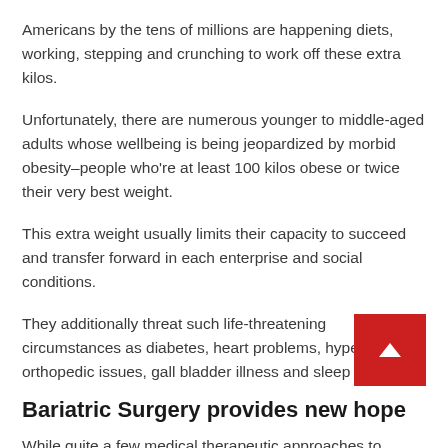Americans by the tens of millions are happening diets, working, stepping and crunching to work off these extra kilos.
Unfortunately, there are numerous younger to middle-aged adults whose wellbeing is being jeopardized by morbid obesity–people who're at least 100 kilos obese or twice their very best weight.
This extra weight usually limits their capacity to succeed and transfer forward in each enterprise and social conditions.
They additionally threat such life-threatening circumstances as diabetes, heart problems, hypertension, orthopedic issues, gall bladder illness and sleep apn…
Bariatric Surgery provides new hope
While quite a few medical therapeutic approaches to morbid…